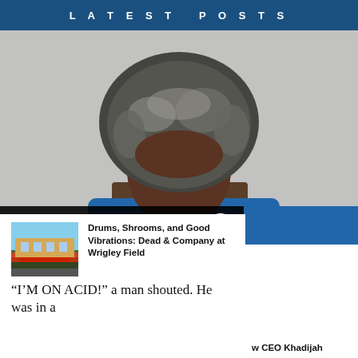LATEST POSTS
[Figure (photo): Portrait photo of a Black woman with grey natural afro hair against a grey background, wearing a blue top]
YOU MIGHT BE INTERESTED IN
[Figure (photo): Thumbnail photo of a building with a red awning, appears to be Wrigley Field exterior]
Drums, Shrooms, and Good Vibrations: Dead & Company at Wrigley Field
“I’M ON ACID!” a man shouted. He was in a
w CEO Khadijah